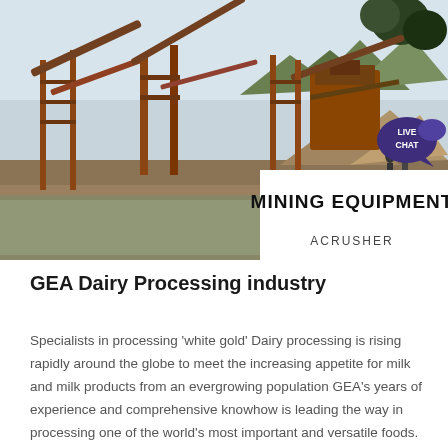[Figure (photo): Industrial mining/crushing equipment site with conveyor belts, machinery, and stockpiles of aggregate material near a river, with mountains in background. Bottom-right quadrant shows a white overlay with 'MINING EQUIPMENT ACRUSHER' logo with green diagonal stripe graphics.]
GEA Dairy Processing industry
Specialists in processing 'white gold' Dairy processing is rising rapidly around the globe to meet the increasing appetite for milk and milk products from an evergrowing population GEA's years of experience and comprehensive knowhow is leading the way in processing one of the world's most important and versatile foods.